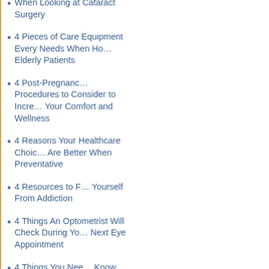When Looking at Cataract Surgery
4 Pieces of Care Equipment Every Needs When Hosting Elderly Patients
4 Post-Pregnancy Procedures to Consider to Increase Your Comfort and Wellness
4 Reasons Your Healthcare Choices Are Better When Preventative
4 Resources to Free Yourself From Addiction
4 Things An Optometrist Will Check During Your Next Eye Appointment
4 Things You Need to Know About Wisdom Teeth Removal